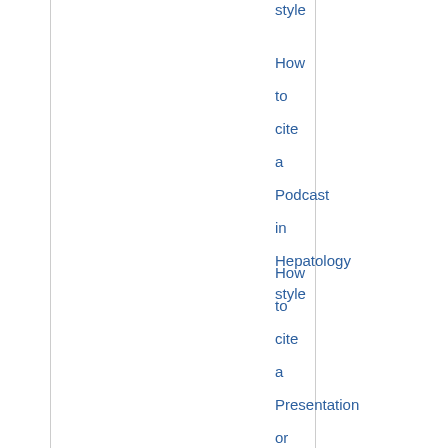style
How to cite a Podcast in Hepatology style
How to cite a Presentation or lecture in Hepatology